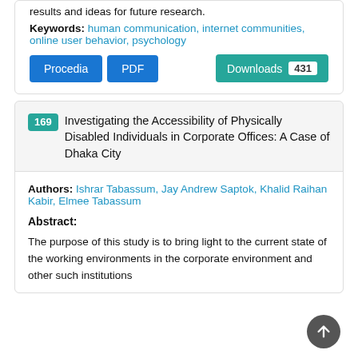results and ideas for future research.
Keywords: human communication, internet communities, online user behavior, psychology
Procedia | PDF | Downloads 431
169 Investigating the Accessibility of Physically Disabled Individuals in Corporate Offices: A Case of Dhaka City
Authors: Ishrar Tabassum, Jay Andrew Saptok, Khalid Raihan Kabir, Elmee Tabassum
Abstract:
The purpose of this study is to bring light to the current state of the working environments in the corporate environment and other such institutions